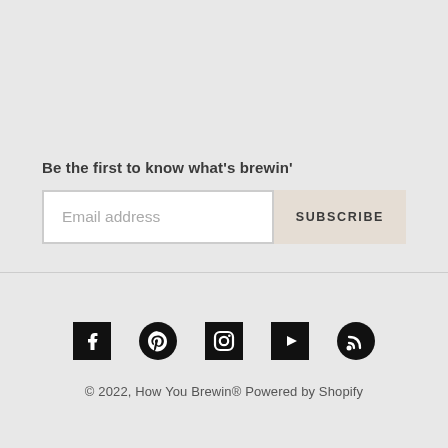Be the first to know what's brewin'
Email address
SUBSCRIBE
[Figure (other): Social media icons row: Facebook, Pinterest, Instagram, YouTube, RSS]
© 2022, How You Brewin® Powered by Shopify